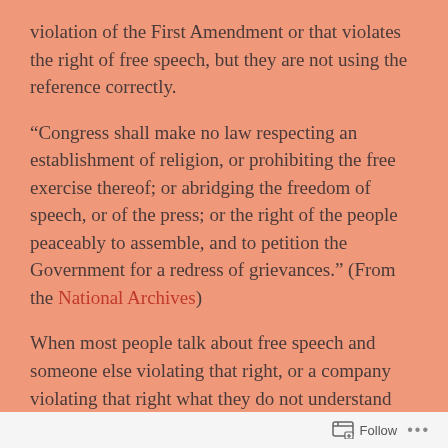violation of the First Amendment or that violates the right of free speech, but they are not using the reference correctly.
“Congress shall make no law respecting an establishment of religion, or prohibiting the free exercise thereof; or abridging the freedom of speech, or of the press; or the right of the people peaceably to assemble, and to petition the Government for a redress of grievances.” (From the National Archives)
When most people talk about free speech and someone else violating that right, or a company violating that right what they do not understand
Follow